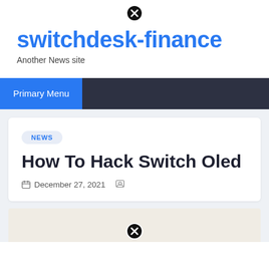[Figure (other): Close/dismiss button icon at top center]
switchdesk-finance
Another News site
Primary Menu
NEWS
How To Hack Switch Oled
December 27, 2021
[Figure (other): Close/dismiss button icon at bottom center]